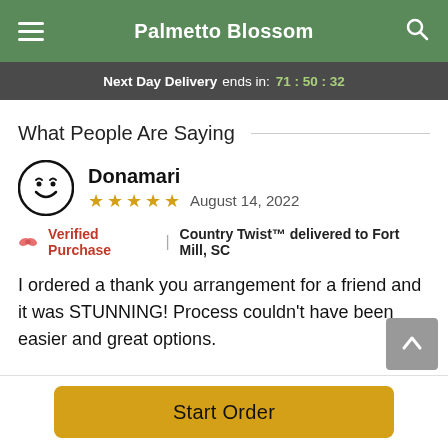Palmetto Blossom
Next Day Delivery ends in: 71 : 50 : 32
What People Are Saying
Donamari
★★★★★  August 14, 2022
🌷 Verified Purchase | Country Twist™ delivered to Fort Mill, SC
I ordered a thank you arrangement for a friend and it was STUNNING! Process couldn't have been easier and great options.
Start Order